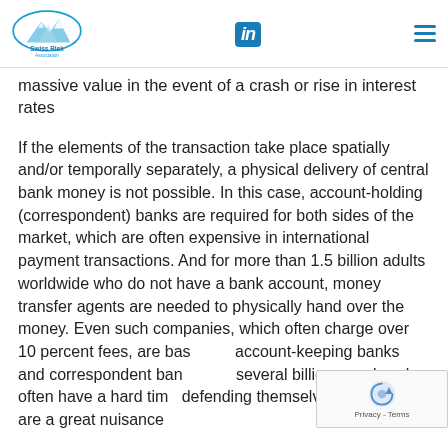Swiss Risk Association | LinkedIn navigation
massive value in the event of a crash or rise in interest rates
If the elements of the transaction take place spatially and/or temporally separately, a physical delivery of central bank money is not possible. In this case, account-holding (correspondent) banks are required for both sides of the market, which are often expensive in international payment transactions. And for more than 1.5 billion adults worldwide who do not have a bank account, money transfer agents are needed to physically hand over the money. Even such companies, which often charge over 10 percent fees, are based on account-keeping banks and correspondent banks. For several billion people, who often have a hard time defending themselves, these fees are a great nuisance